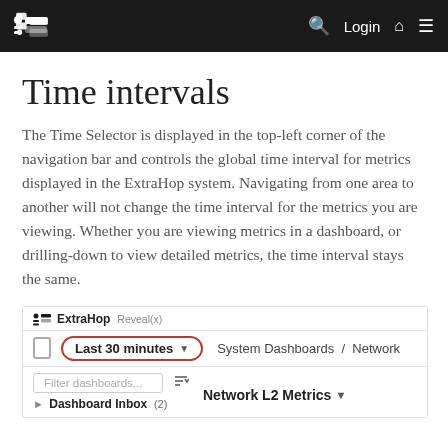ExtraHop Reveal(x) — Login — navigation bar
Time intervals
The Time Selector is displayed in the top-left corner of the navigation bar and controls the global time interval for metrics displayed in the ExtraHop system. Navigating from one area to another will not change the time interval for the metrics you are viewing. Whether you are viewing metrics in a dashboard, or drilling-down to view detailed metrics, the time interval stays the same.
[Figure (screenshot): Screenshot of ExtraHop Reveal(x) interface showing the Time Selector set to 'Last 30 minutes' (circled in red) in the navigation bar, with System Dashboards / Network path, a Filter dashboards input, a sort icon, Dashboard Inbox (2), and Network L2 Metrics dropdown.]